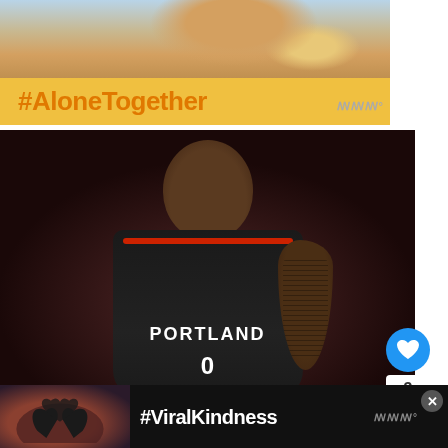[Figure (photo): Advertisement banner with photo of person eating at laptop and '#AloneTogether' text on yellow background]
[Figure (photo): Basketball player in Portland Trail Blazers black jersey number 0 with tattoos on arm, looking over shoulder, red bokeh crowd background]
3
[Figure (photo): Bottom advertisement with hands forming heart shape and '#ViralKindness' text on dark background]